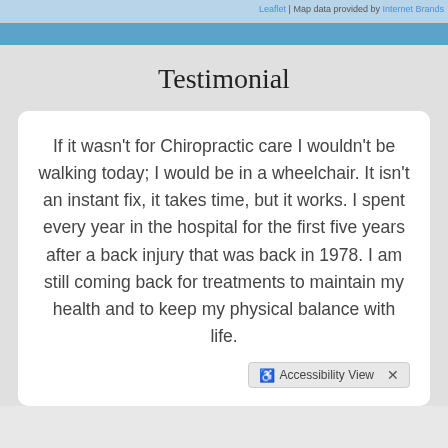[Figure (map): Map strip at top with attribution: Leaflet | Map data provided by Internet Brands]
Testimonial
If it wasn't for Chiropractic care I wouldn't be walking today; I would be in a wheelchair. It isn't an instant fix, it takes time, but it works. I spent every year in the hospital for the first five years after a back injury that was back in 1978. I am still coming back for treatments to maintain my health and to keep my physical balance with life.